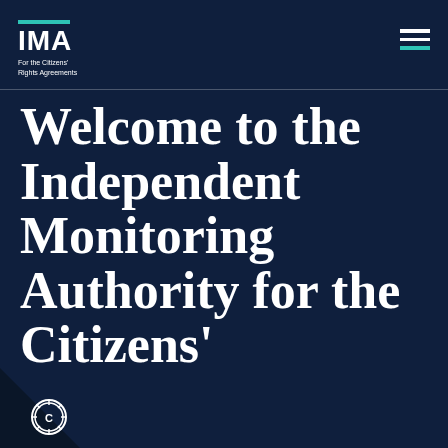IMA — For the Citizens' Rights Agreements
Welcome to the Independent Monitoring Authority for the Citizens'